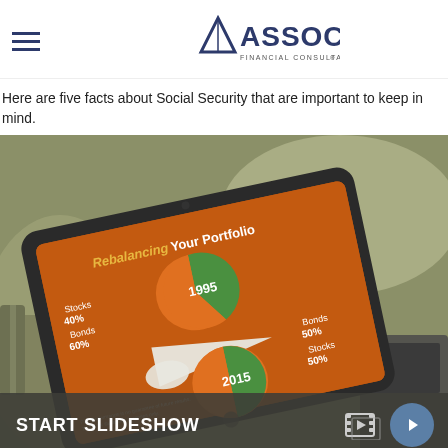Associated Financial Consultants & Investor Services
Here are five facts about Social Security that are important to keep in mind.
[Figure (photo): A tablet device displaying a 'Rebalancing Your Portfolio' infographic with pie charts labeled 1995 (Stocks 40%, Bonds 60%) and 2015 (Stocks 50%, Bonds 50%), shown resting on a canvas bag/backpack. A 'START SLIDESHOW' bar appears at the bottom with a play icon and a blue circle button.]